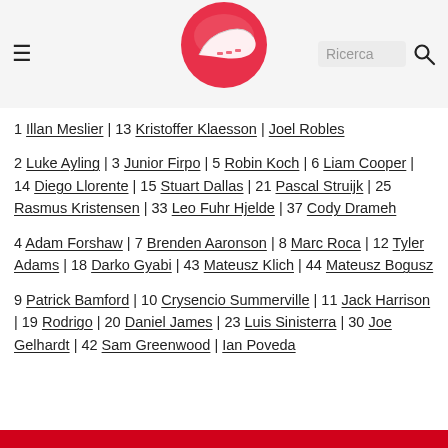Ricerca (search bar with hamburger menu and logo)
1 Illan Meslier | 13 Kristoffer Klaesson | Joel Robles
2 Luke Ayling | 3 Junior Firpo | 5 Robin Koch | 6 Liam Cooper | 14 Diego Llorente | 15 Stuart Dallas | 21 Pascal Struijk | 25 Rasmus Kristensen | 33 Leo Fuhr Hjelde | 37 Cody Drameh
4 Adam Forshaw | 7 Brenden Aaronson | 8 Marc Roca | 12 Tyler Adams | 18 Darko Gyabi | 43 Mateusz Klich | 44 Mateusz Bogusz
9 Patrick Bamford | 10 Crysencio Summerville | 11 Jack Harrison | 19 Rodrigo | 20 Daniel James | 23 Luis Sinisterra | 30 Joe Gelhardt | 42 Sam Greenwood | Ian Poveda